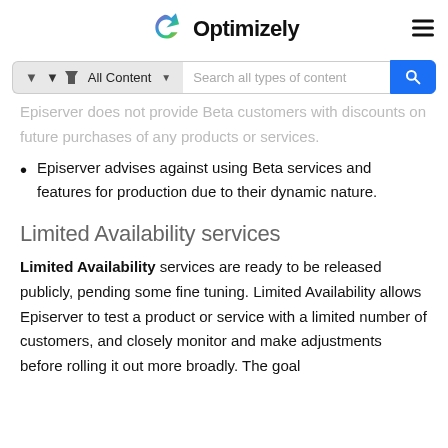Optimizely
[Figure (screenshot): Search bar with 'All Content' filter dropdown and 'Search all types of content' placeholder, with blue search button]
Episerver does not provide Beta customers with discounts on future purchases of any products or services.
Episerver advises against using Beta services and features for production due to their dynamic nature.
Limited Availability services
Limited Availability services are ready to be released publicly, pending some fine tuning. Limited Availability allows Episerver to test a product or service with a limited number of customers, and closely monitor and make adjustments before rolling it out more broadly. The goal